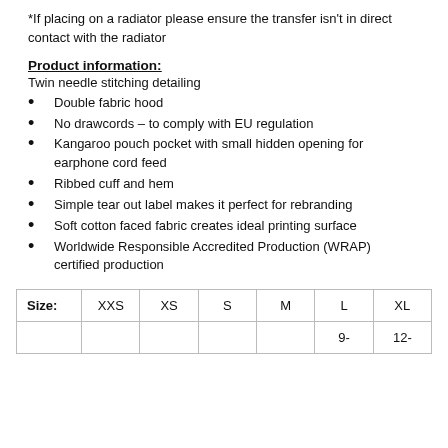*If placing on a radiator please ensure the transfer isn't in direct contact with the radiator
Product information:
Twin needle stitching detailing
Double fabric hood
No drawcords – to comply with EU regulation
Kangaroo pouch pocket with small hidden opening for earphone cord feed
Ribbed cuff and hem
Simple tear out label makes it perfect for rebranding
Soft cotton faced fabric creates ideal printing surface
Worldwide Responsible Accredited Production (WRAP) certified production
| Size: | XXS | XS | S | M | L | XL |
| --- | --- | --- | --- | --- | --- | --- |
|  |  |  |  |  | 9- | 12- |